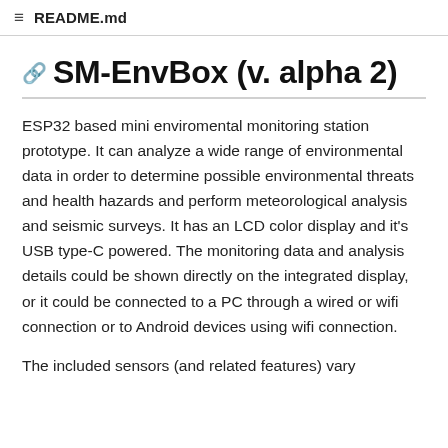README.md
SM-EnvBox (v. alpha 2)
ESP32 based mini enviromental monitoring station prototype. It can analyze a wide range of environmental data in order to determine possible environmental threats and health hazards and perform meteorological analysis and seismic surveys. It has an LCD color display and it's USB type-C powered. The monitoring data and analysis details could be shown directly on the integrated display, or it could be connected to a PC through a wired or wifi connection or to Android devices using wifi connection.
The included sensors (and related features) vary